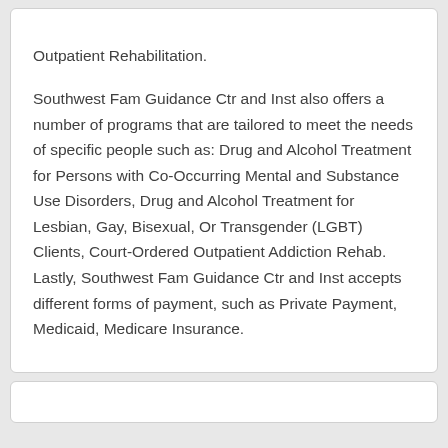Outpatient Rehabilitation.

Southwest Fam Guidance Ctr and Inst also offers a number of programs that are tailored to meet the needs of specific people such as: Drug and Alcohol Treatment for Persons with Co-Occurring Mental and Substance Use Disorders, Drug and Alcohol Treatment for Lesbian, Gay, Bisexual, Or Transgender (LGBT) Clients, Court-Ordered Outpatient Addiction Rehab. Lastly, Southwest Fam Guidance Ctr and Inst accepts different forms of payment, such as Private Payment, Medicaid, Medicare Insurance.